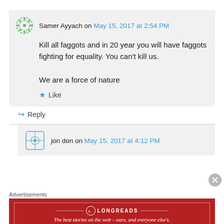Samer Ayyach on May 15, 2017 at 2:54 PM
Kill all faggots and in 20 year you will have faggots fighting for equality. You can't kill us.
We are a force of nature
Like
Reply
jon don on May 15, 2017 at 4:12 PM
Advertisements
[Figure (logo): Longreads advertisement banner: red background with Longreads logo and tagline 'The best stories on the web – ours, and everyone else's.']